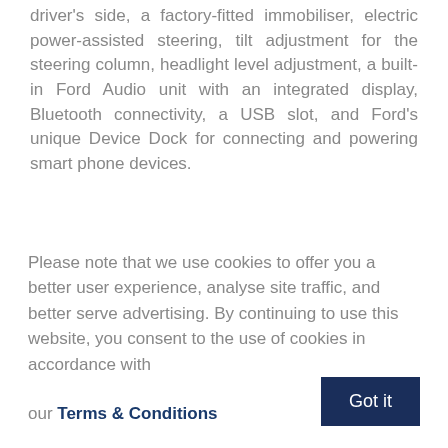electric front windows with one-touch operation on the driver's side, a factory-fitted immobiliser, electric power-assisted steering, tilt adjustment for the steering column, headlight level adjustment, a built-in Ford Audio unit with an integrated display, Bluetooth connectivity, a USB slot, and Ford's unique Device Dock for connecting and powering smart phone devices.
Please note that we use cookies to offer you a better user experience, analyse site traffic, and better serve advertising. By continuing to use this website, you consent to the use of cookies in accordance with our Terms & Conditions